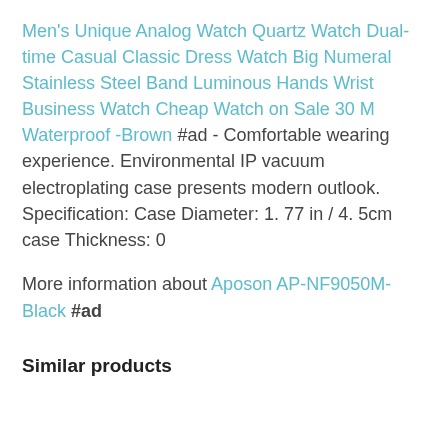Men's Unique Analog Watch Quartz Watch Dual-time Casual Classic Dress Watch Big Numeral Stainless Steel Band Luminous Hands Wrist Business Watch Cheap Watch on Sale 30 M Waterproof -Brown #ad - Comfortable wearing experience. Environmental IP vacuum electroplating case presents modern outlook. Specification: Case Diameter: 1. 77 in / 4. 5cm case Thickness: 0
More information about Aposon AP-NF9050M-Black #ad
Similar products